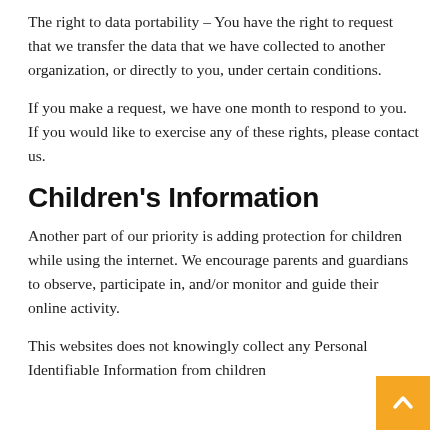The right to data portability – You have the right to request that we transfer the data that we have collected to another organization, or directly to you, under certain conditions.
If you make a request, we have one month to respond to you. If you would like to exercise any of these rights, please contact us.
Children's Information
Another part of our priority is adding protection for children while using the internet. We encourage parents and guardians to observe, participate in, and/or monitor and guide their online activity.
This websites does not knowingly collect any Personal Identifiable Information from children